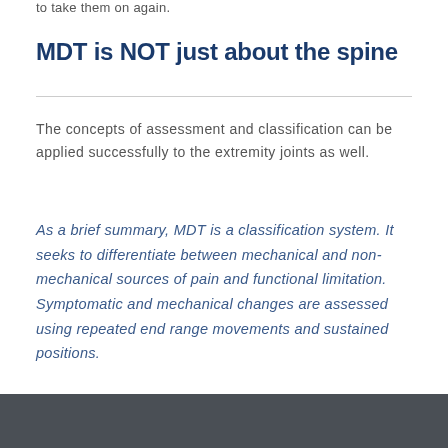to take them on again.
MDT is NOT just about the spine
The concepts of assessment and classification can be applied successfully to the extremity joints as well.
As a brief summary, MDT is a classification system. It seeks to differentiate between mechanical and non-mechanical sources of pain and functional limitation. Symptomatic and mechanical changes are assessed using repeated end range movements and sustained positions.